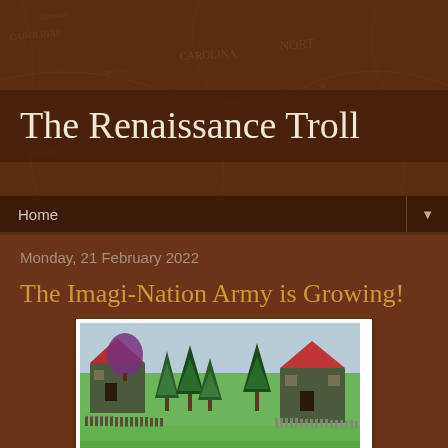The Renaissance Troll
Home
Monday, 21 February 2022
The Imagi-Nation Army is Growing!
[Figure (photo): Miniature wargaming figures on a green terrain mat with model pine trees and two buildings with red roofs. Rows of small painted soldiers are arranged in formation.]